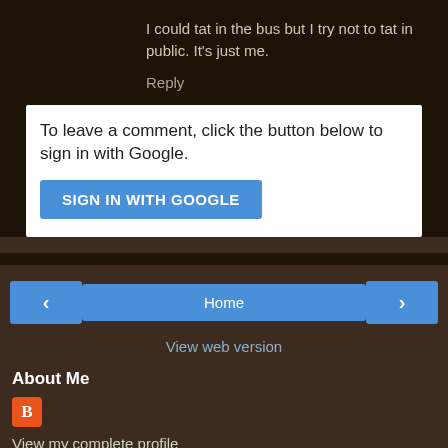I could tat in the bus but I try not to tat in public. It's just me.
Reply
To leave a comment, click the button below to sign in with Google.
SIGN IN WITH GOOGLE
‹
Home
›
View web version
About Me
View my complete profile
Powered by Blogger.